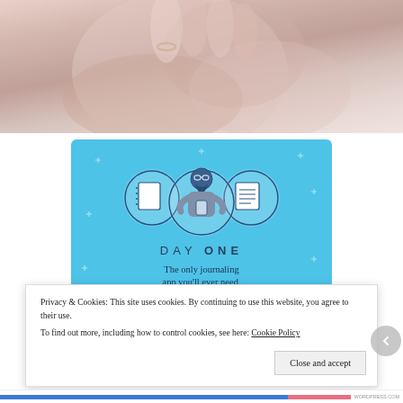[Figure (photo): Close-up photo of hands/fabric in soft pink and beige tones, cropped at top of page]
[Figure (illustration): Day One journaling app advertisement on blue background with circular icons showing a notebook, a person holding a phone, and a lined notebook. Text: DAY ONE - The only journaling app you'll ever need. Get the app button.]
Privacy & Cookies: This site uses cookies. By continuing to use this website, you agree to their use.
To find out more, including how to control cookies, see here: Cookie Policy
Close and accept